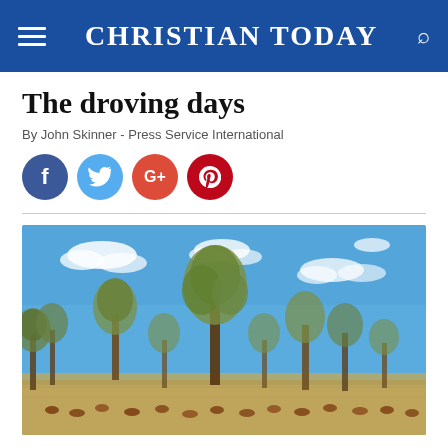CHRISTIAN TODAY
The droving days
By John Skinner - Press Service International
[Figure (screenshot): Social media sharing icons: Facebook (blue circle), Twitter (light blue circle), Google+ (red-orange circle), Pinterest (dark red circle)]
[Figure (photo): Australian outback landscape with eucalyptus trees under a blue sky with scattered clouds; cattle visible in the foreground on dry grassland]